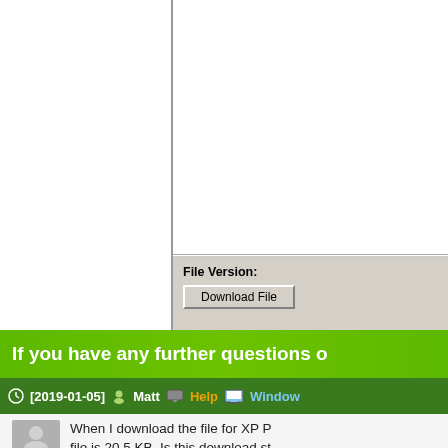[Figure (screenshot): Partial screenshot of a Windows dialog box showing a white content area above and a grey footer with 'File Version:' label and a 'Download File' button]
If you have any further questions o
[2019-01-05]  Matt  Help  Window
When I download the file for XP P file is 20.5 KB. Is this download st